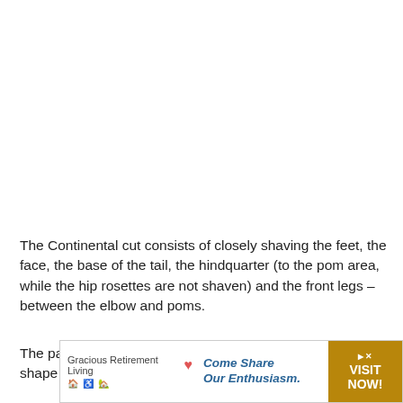The Continental cut consists of closely shaving the feet, the face, the base of the tail, the hindquarter (to the pom area, while the hip rosettes are not shaven) and the front legs – between the elbow and poms.
The pack area will be scissored in order to have some shape but will be left really long.
[Figure (other): Advertisement banner for Gracious Retirement Living with heart logo, tagline 'Come Share Our Enthusiasm.' and a gold 'VISIT NOW!' call-to-action button with play and close icons.]